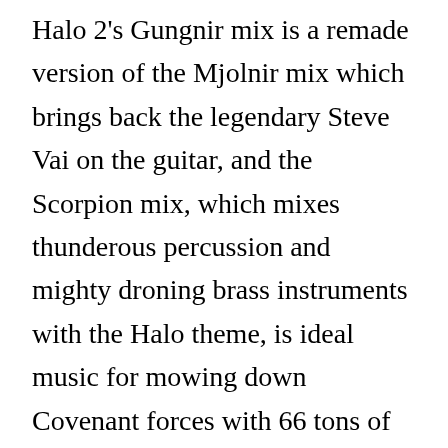Halo 2's Gungnir mix is a remade version of the Mjolnir mix which brings back the legendary Steve Vai on the guitar, and the Scorpion mix, which mixes thunderous percussion and mighty droning brass instruments with the Halo theme, is ideal music for mowing down Covenant forces with 66 tons of straight-up, HE-spewing dee-vine intervention. Premiere Pro After Effects Final Cut Pro DaVinci Resolve. Templates. 5 months ago. Try it free. Halo (instrumental)